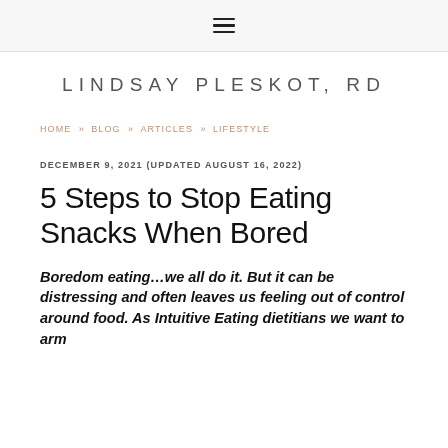☰
LINDSAY PLESKOT, RD
HOME » BLOG » ARTICLES » LIFESTYLE
DECEMBER 9, 2021 (UPDATED AUGUST 16, 2022)
5 Steps to Stop Eating Snacks When Bored
Boredom eating…we all do it. But it can be distressing and often leaves us feeling out of control around food. As Intuitive Eating dietitians we want to arm